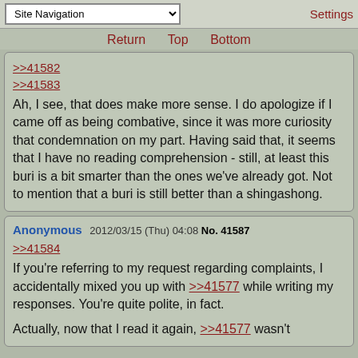Site Navigation | Settings
Return   Top   Bottom
>>41582
>>41583
Ah, I see, that does make more sense. I do apologize if I came off as being combative, since it was more curiosity that condemnation on my part. Having said that, it seems that I have no reading comprehension - still, at least this buri is a bit smarter than the ones we've already got. Not to mention that a buri is still better than a shingashong.
Anonymous 2012/03/15 (Thu) 04:08 No. 41587
>>41584
If you're referring to my request regarding complaints, I accidentally mixed you up with >>41577 while writing my responses. You're quite polite, in fact.

Actually, now that I read it again, >>41577 wasn't...